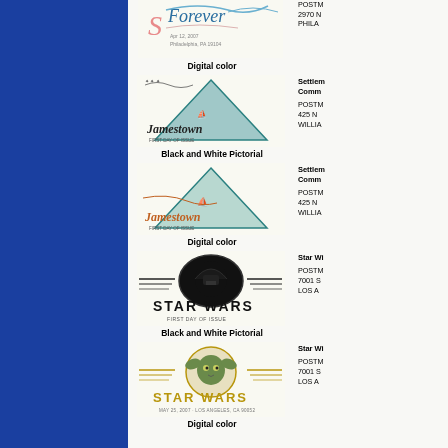[Figure (illustration): Forever stamp cachet - S Forever script logo with decorative flourishes, Philadelphia postmark]
POSTM
2970 N
PHILA
Digital color
[Figure (illustration): Jamestown settlement triangular stamp with sailing ships, black and white pictorial cachet]
Settlement
Comm
POSTM
425 N
WILLIA
Black and White Pictorial
[Figure (illustration): Jamestown settlement triangular stamp digital color cachet]
Settlement
Comm
POSTM
425 N
WILLIA
Digital color
[Figure (illustration): Star Wars Darth Vader black and white pictorial cachet with Star Wars First Day of Issue text]
Star Wi
POSTM
7001 S
LOS A
Black and White Pictorial
[Figure (illustration): Star Wars Yoda digital color cachet with Star Wars logo]
Star Wi
POSTM
7001 S
LOS A
Digital color